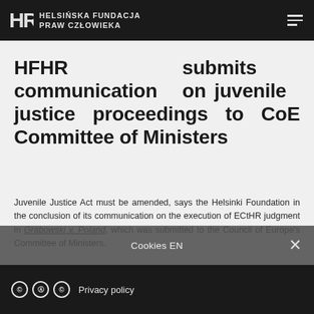HELSIŃSKA FUNDACJA PRAW CZŁOWIEKA
HFHR submits communication on juvenile justice proceedings to CoE Committee of Ministers
Juvenile Justice Act must be amended, says the Helsinki Foundation in the conclusion of its communication on the execution of ECtHR judgment in Grabowski v. Poland, which was submitted to the Council of Europe's Committee of Ministers.
The judgment concerns the absence of periodic reviews of the
Privacy policy